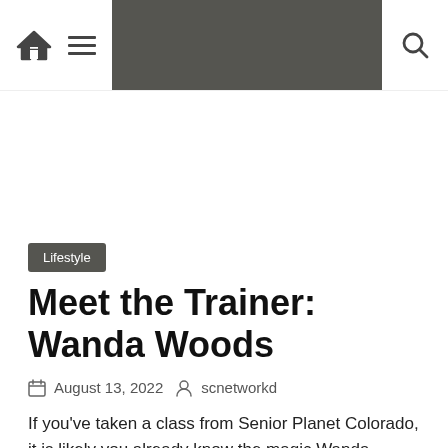Navigation bar with home icon, menu icon, and search icon
[Figure (other): Advertisement / blank white space area]
Lifestyle
Meet the Trainer: Wanda Woods
August 13, 2022  scnetworkd
If you've taken a class from Senior Planet Colorado, it is likely you already know the magic Wanda Woods